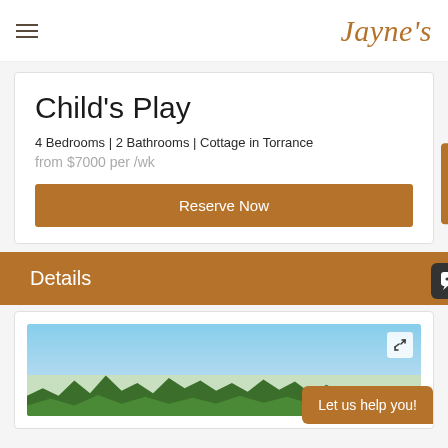Jayne's
Child's Play
4 Bedrooms | 2 Bathrooms | Cottage in Torrance
from $7000 per /wk
Reserve Now
Details
[Figure (photo): Outdoor photo showing blue sky and green trees]
Let us help you!